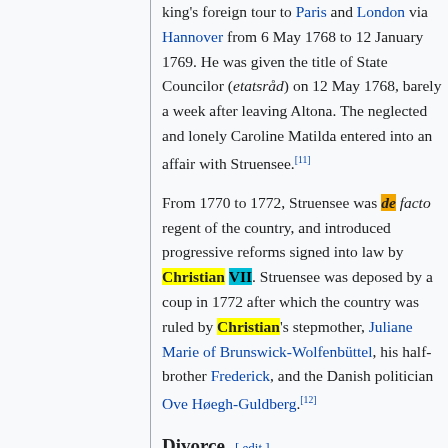king's foreign tour to Paris and London via Hannover from 6 May 1768 to 12 January 1769. He was given the title of State Councilor (etatsråd) on 12 May 1768, barely a week after leaving Altona. The neglected and lonely Caroline Matilda entered into an affair with Struensee.[11]
From 1770 to 1772, Struensee was de facto regent of the country, and introduced progressive reforms signed into law by Christian VII. Struensee was deposed by a coup in 1772 after which the country was ruled by Christian's stepmother, Juliane Marie of Brunswick-Wolfenbüttel, his half-brother Frederick, and the Danish politician Ove Høegh-Guldberg.[12]
Divorce [ edit ]